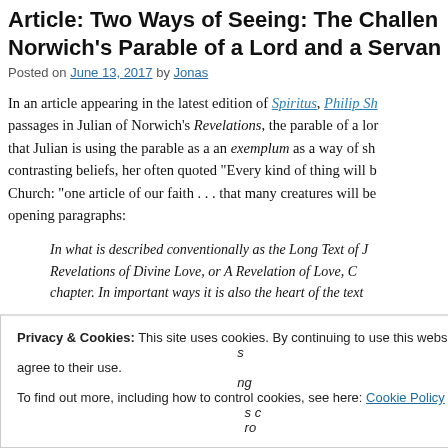Article: Two Ways of Seeing: The Challenge of Norwich's Parable of a Lord and a Servant
Posted on June 13, 2017 by Jonas
In an article appearing in the latest edition of Spiritus, Philip Sh... passages in Julian of Norwich's Revelations, the parable of a lor... that Julian is using the parable as a an exemplum as a way of sho... contrasting beliefs, her often quoted "Every kind of thing will b... Church: "one article of our faith . . . that many creatures will be... opening paragraphs:
In what is described conventionally as the Long Text of J... Revelations of Divine Love, or A Revelation of Love, C... chapter. In important ways it is also the heart of the text...
Privacy & Cookies: This site uses cookies. By continuing to use this website, you agree to their use. To find out more, including how to control cookies, see here: Cookie Policy